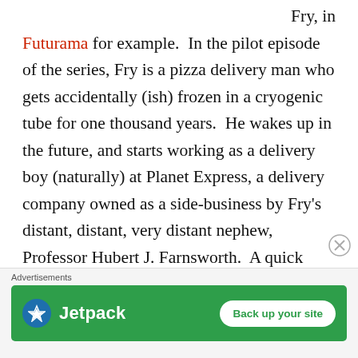Fry, in Futurama for example.  In the pilot episode of the series, Fry is a pizza delivery man who gets accidentally (ish) frozen in a cryogenic tube for one thousand years.  He wakes up in the future, and starts working as a delivery boy (naturally) at Planet Express, a delivery company owned as a side-business by Fry's distant, distant, very distant nephew, Professor Hubert J. Farnsworth.  A quick side-note about Futurama-  this show is insanely smart at times.  From the earliest episodes, the creators plotted out certain things that get threaded throughout the
[Figure (infographic): Jetpack advertisement banner with green background, Jetpack logo on left and 'Back up your site' button on right, with 'Advertisements' label above and a close (X) button.]